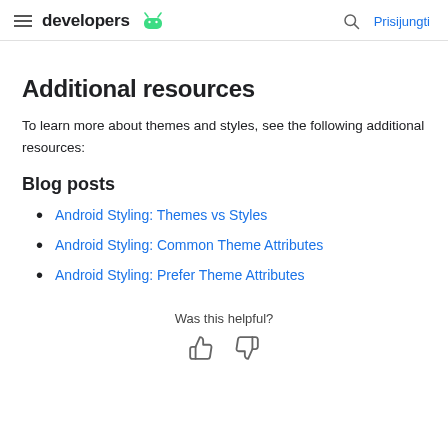developers | Prisijungti
Additional resources
To learn more about themes and styles, see the following additional resources:
Blog posts
Android Styling: Themes vs Styles
Android Styling: Common Theme Attributes
Android Styling: Prefer Theme Attributes
Was this helpful?